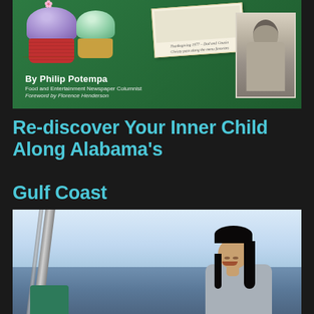[Figure (photo): Book cover image on green background showing cupcakes, a postcard captioned 'Thanksgiving 1977 - Dad and Cousin Christy pass along the menu favorites', a black-and-white photo of a woman, and author byline 'By Philip Potempa, Food and Entertainment Newspaper Columnist, Foreword by Florence Henderson']
Re-discover Your Inner Child Along Alabama's Gulf Coast
[Figure (photo): Photo of a young Asian girl smiling, seated in a green chair on what appears to be a dock or boat deck, with open water and blue sky in the background]